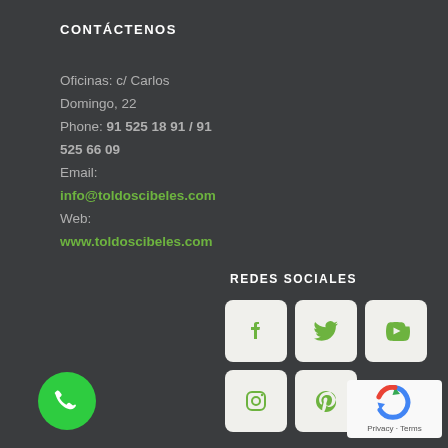CONTÁCTENOS
Oficinas: c/ Carlos Domingo, 22
Phone: 91 525 18 91 / 91 525 66 09
Email: info@toldoscibeles.com
Web: www.toldoscibeles.com
REDES SOCIALES
[Figure (infographic): Social media icons: Facebook, Twitter, YouTube, Instagram, Pinterest in rounded square boxes with green icons]
[Figure (infographic): Green circular phone call button]
[Figure (infographic): Scroll up arrow button]
[Figure (infographic): Google reCAPTCHA badge with Privacy and Terms text]